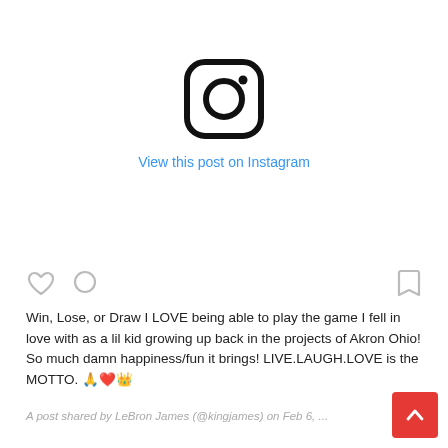[Figure (logo): Instagram camera icon — rounded square outline with circle and dot inside]
View this post on Instagram
[Figure (other): Three action icons: heart, comment bubble (left side), and bookmark (right side) — all gray/outline]
Win, Lose, or Draw I LOVE being able to play the game I fell in love with as a lil kid growing up back in the projects of Akron Ohio! So much damn happiness/fun it brings! LIVE.LAUGH.LOVE is the MOTTO. 🙏❤️👑
A post shared by LeBron James (@kingjames) on Feb 6, ...
[Figure (other): Red scroll-to-top button with white chevron arrow]